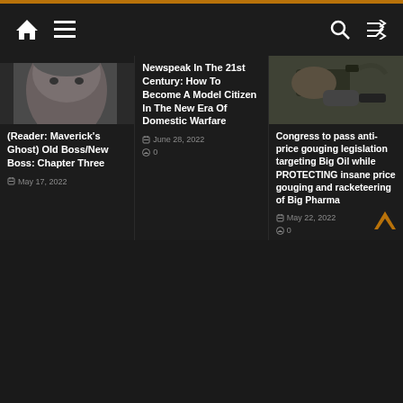Navigation bar with home, menu, search, shuffle icons
[Figure (photo): Close-up photo of an older man's face with gray hair]
(Reader: Maverick's Ghost) Old Boss/New Boss: Chapter Three
May 17, 2022
Newspeak In The 21st Century: How To Become A Model Citizen In The New Era Of Domestic Warfare
June 28, 2022
0
[Figure (photo): Photo of a gas pump nozzle filling up a vehicle]
Congress to pass anti-price gouging legislation targeting Big Oil while PROTECTING insane price gouging and racketeering of Big Pharma
May 22, 2022
0